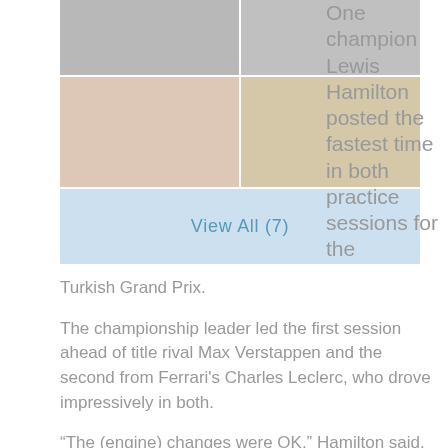[Figure (photo): Grid of Formula 1 racing car photos from Turkish Grand Prix practice sessions]
One champion Lewis Hamilton posted the fastest time in both practice sessions for the Turkish Grand Prix.
The championship leader led the first session ahead of title rival Max Verstappen and the second from Ferrari's Charles Leclerc, who drove impressively in both.
“The (engine) changes were OK,” Hamilton said. “I’m not sure it felt as good in the second session.”